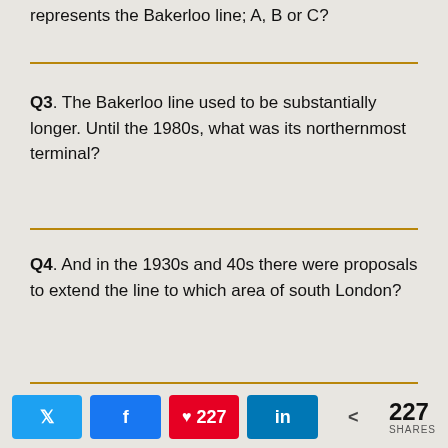represents the Bakerloo line; A, B or C?
Q3. The Bakerloo line used to be substantially longer. Until the 1980s, what was its northernmost terminal?
Q4. And in the 1930s and 40s there were proposals to extend the line to which area of south London?
< 227 SHARES | Twitter | Facebook | Pinterest 227 | LinkedIn